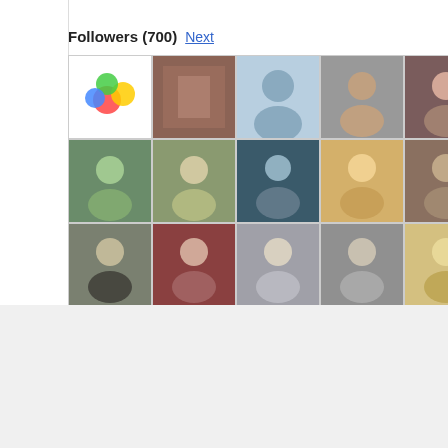Followers (700) Next
[Figure (screenshot): Grid of 21 follower profile photos/avatars arranged in 4 rows of 6, 6, 6, and 3 columns]
[Figure (logo): The Mongoose logo — dots, black THE block, outlined MONGO text in yellow-green, pink M circle, scroll-to-top button]